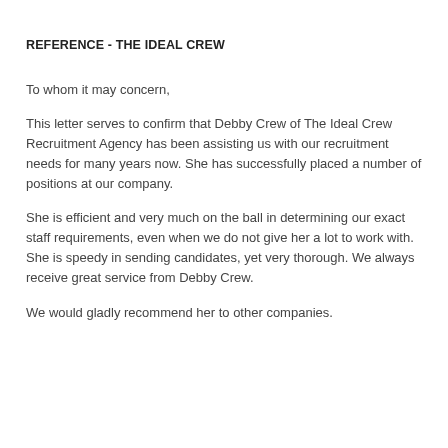REFERENCE - THE IDEAL CREW
To whom it may concern,
This letter serves to confirm that Debby Crew of The Ideal Crew Recruitment Agency has been assisting us with our recruitment needs for many years now. She has successfully placed a number of positions at our company.
She is efficient and very much on the ball in determining our exact staff requirements, even when we do not give her a lot to work with. She is speedy in sending candidates, yet very thorough. We always receive great service from Debby Crew.
We would gladly recommend her to other companies.